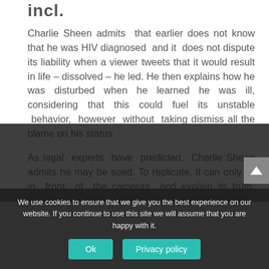incl.
Charlie Sheen admits that earlier does not know that he was HIV diagnosed and it does not dispute its liability when a viewer tweets that it would result in life – dissolved – he led. He then explains how he was disturbed when he learned he was ill, considering that this could fuel its unstable behavior, however without taking dismiss all the blame on his status.
As legal experts have predicted, Charlie Sheen admits he may be sued. To replicate, it can only sit in front of the cameras and explain its truth. Although he was from 2010 to 2011, the highest paid actor on American television, and until 2011, he uncontrollably … social situation … is not glamour … drama.
We use cookies to ensure that we give you the best experience on our website. If you continue to use this site we will assume that you are happy with it.